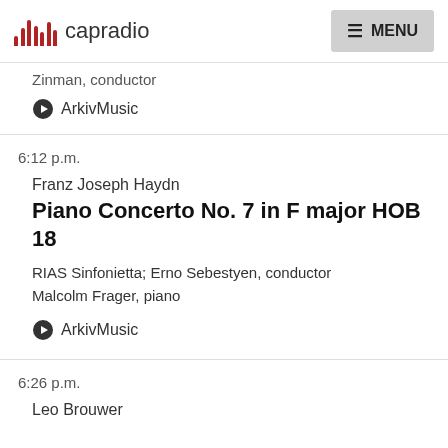capradio   MENU
Zinman, conductor
ArkivMusic
6:12 p.m.
Franz Joseph Haydn
Piano Concerto No. 7 in F major HOB 18
RIAS Sinfonietta; Erno Sebestyen, conductor
Malcolm Frager, piano
ArkivMusic
6:26 p.m.
Leo Brouwer